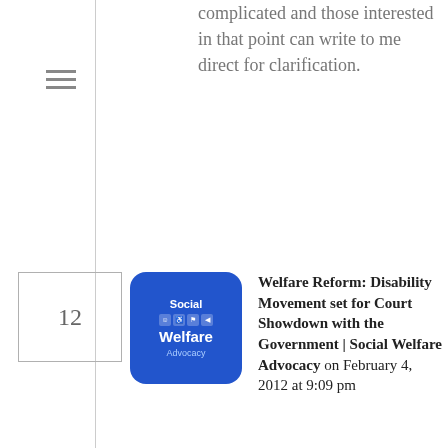complicated and those interested in that point can write to me direct for clarification.
12
[Figure (logo): Social Welfare Advocacy blue rounded square logo icon]
Welfare Reform: Disability Movement set for Court Showdown with the Government | Social Welfare Advocacy on February 4, 2012 at 9:09 pm
Reply
[…] new levels this week when the government signalled that it would take advantage of the rarely-used “financial privilege” procedure to overturn seven amendments to the bill that had been